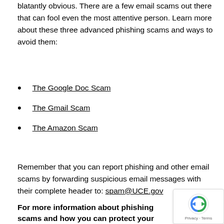blatantly obvious. There are a few email scams out there that can fool even the most attentive person. Learn more about these three advanced phishing scams and ways to avoid them:
The Google Doc Scam
The Gmail Scam
The Amazon Scam
Remember that you can report phishing and other email scams by forwarding suspicious email messages with their complete header to: spam@UCE.gov
For more information about phishing scams and how you can protect your business with employee